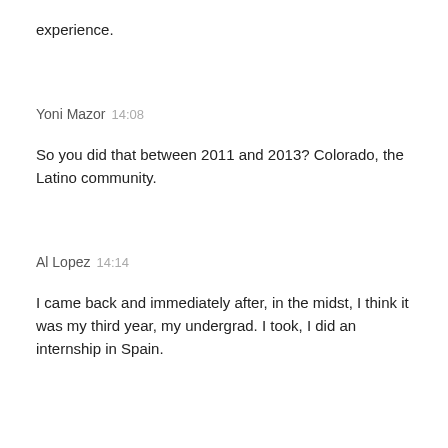experience.
Yoni Mazor  14:08
So you did that between 2011 and 2013? Colorado, the Latino community.
Al Lopez  14:14
I came back and immediately after, in the midst, I think it was my third year, my undergrad. I took, I did an internship in Spain.